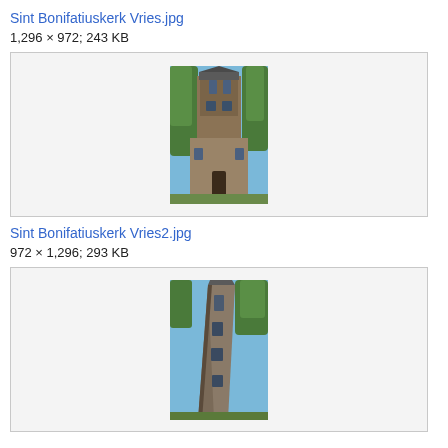Sint Bonifatiuskerk Vries.jpg
1,296 × 972; 243 KB
[Figure (photo): Photo of Sint Bonifatiuskerk Vries church tower, a Romanesque brick and stone church tower surrounded by green trees, viewed from street level.]
Sint Bonifatiuskerk Vries2.jpg
972 × 1,296; 293 KB
[Figure (photo): Photo of Sint Bonifatiuskerk Vries2, showing the tall stone church tower from a low angle against a blue sky with trees.]